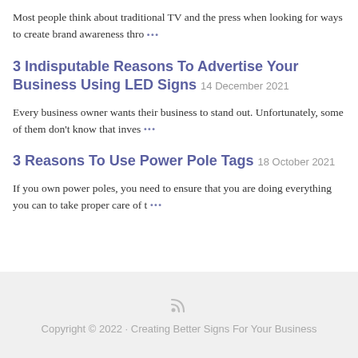Most people think about traditional TV and the press when looking for ways to create brand awareness thro •••
3 Indisputable Reasons To Advertise Your Business Using LED Signs 14 December 2021
Every business owner wants their business to stand out. Unfortunately, some of them don't know that inves •••
3 Reasons To Use Power Pole Tags 18 October 2021
If you own power poles, you need to ensure that you are doing everything you can to take proper care of t •••
Copyright © 2022 · Creating Better Signs For Your Business